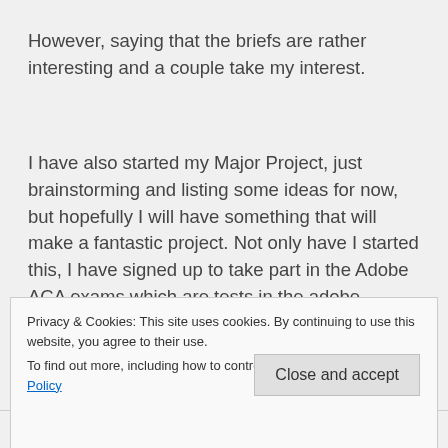However, saying that the briefs are rather interesting and a couple take my interest.
I have also started my Major Project, just brainstorming and listing some ideas for now, but hopefully I will have something that will make a fantastic project. Not only have I started this, I have signed up to take part in the Adobe ACA exams which are tests in the adobe software (Photoshop, Illustrator and Indesign). It's a professional qualification, that costs a bit of money
Privacy & Cookies: This site uses cookies. By continuing to use this website, you agree to their use.
To find out more, including how to control cookies, see here: Cookie Policy
Close and accept
Share this: